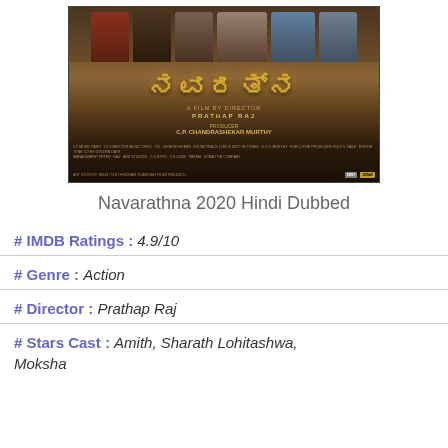[Figure (photo): Movie poster for Navarathna (2020), a Kannada film. Shows actors at the top, with a golden Kannada script title in the center on a dark brown/golden background. Credits and logos at the bottom.]
Navarathna 2020 Hindi Dubbed
# IMDB Ratings : 4.9/10
# Genre : Action
# Director : Prathap Raj
# Stars Cast : Amith, Sharath Lohitashwa, Moksha